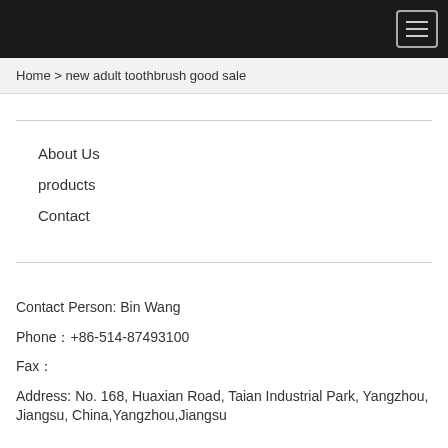≡
Home > new adult toothbrush good sale
About Us
products
Contact
Contact Person: Bin Wang
Phone：+86-514-87493100
Fax：
Address: No. 168, Huaxian Road, Taian Industrial Park, Yangzhou, Jiangsu, China,Yangzhou,Jiangsu